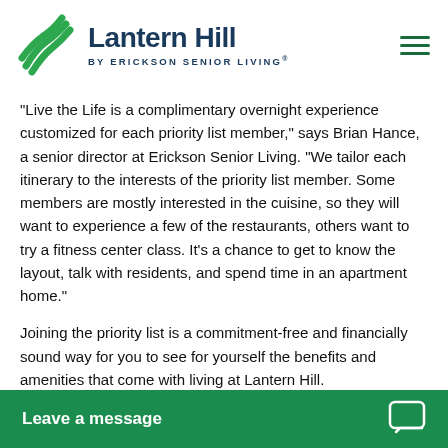[Figure (logo): Lantern Hill by Erickson Senior Living logo with green wave/flame icon and dark navy text]
“Live the Life is a complimentary overnight experience customized for each priority list member,” says Brian Hance, a senior director at Erickson Senior Living. “We tailor each itinerary to the interests of the priority list member. Some members are mostly interested in the cuisine, so they will want to experience a few of the restaurants, others want to try a fitness center class. It’s a chance to get to know the layout, talk with residents, and spend time in an apartment home.”
Joining the priority list is a commitment-free and financially sound way for you to see for yourself the benefits and amenities that come with living at Lantern Hill.
Your journey begins with a $1,000 priority list deposit, which is applied to the a... refundable should you d...
Leave a message